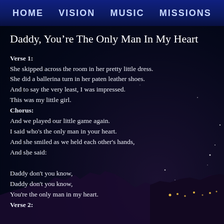HOME   VISION   MUSIC   MISSIONS
Daddy, You’re The Only Man In My Heart
Verse 1:
She skipped across the room in her pretty little dress.
She did a ballerina turn in her paten leather shoes.
And to say the very least, I was impressed.
This was my little girl.
Chorus:
And we played our little game again.
I said who's the only man in your heart.
And she smiled as we held each other's hands,
And she said:

Daddy don't you know,
Daddy don't you know,
You're the only man in my heart.
Verse 2: